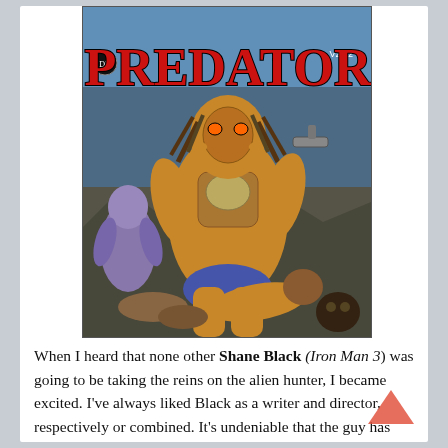[Figure (illustration): Comic book cover for 'Predator' from Dark Horse Comics, featuring the Predator creature in armor surrounded by alien figures, with a barcode in the top-left corner and the title 'PREDATOR' in large red letters.]
When I heard that none other Shane Black (Iron Man 3) was going to be taking the reins on the alien hunter, I became excited. I've always liked Black as a writer and director, respectively or combined. It's undeniable that the guy has skill and style, but he's also one of the